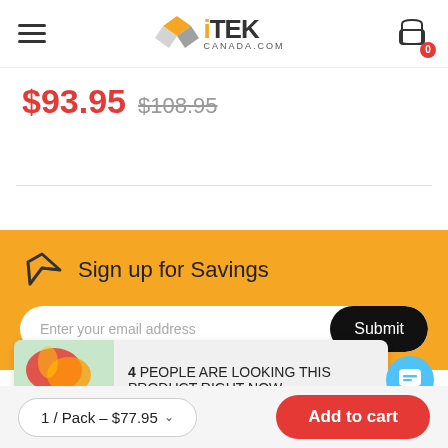iTEK CANADA.COM
$93.95  $108.95
Sign up for Savings
Enter your email address  Submit
4 PEOPLE ARE LOOKING THIS PRODUCT RIGHT NOW
1 / Pack – $77.95  Add to cart